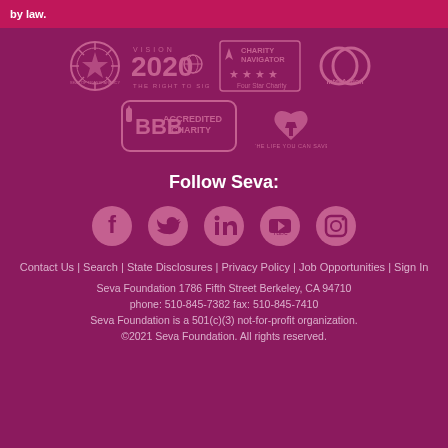by law.
[Figure (logo): Row of charity/accreditation logos: Seal of Transparency, Vision 2020 The Right to Sight, Charity Navigator Four Star Charity, InterAction; second row: BBB Accredited Charity, The Life You Can Save]
Follow Seva:
[Figure (infographic): Social media icons: Facebook, Twitter, LinkedIn, YouTube, Instagram]
Contact Us | Search | State Disclosures | Privacy Policy | Job Opportunities | Sign In
Seva Foundation 1786 Fifth Street Berkeley, CA 94710 phone: 510-845-7382 fax: 510-845-7410 Seva Foundation is a 501(c)(3) not-for-profit organization. ©2021 Seva Foundation. All rights reserved.